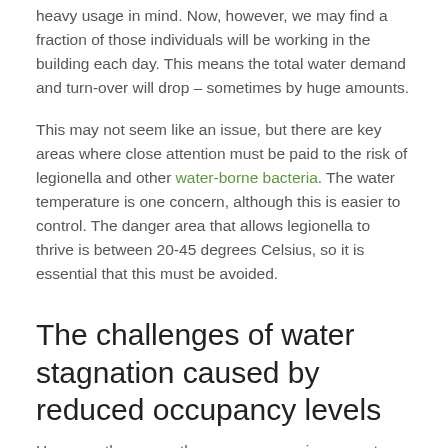heavy usage in mind. Now, however, we may find a fraction of those individuals will be working in the building each day. This means the total water demand and turn-over will drop – sometimes by huge amounts.
This may not seem like an issue, but there are key areas where close attention must be paid to the risk of legionella and other water-borne bacteria. The water temperature is one concern, although this is easier to control. The danger area that allows legionella to thrive is between 20-45 degrees Celsius, so it is essential that this must be avoided.
The challenges of water stagnation caused by reduced occupancy levels
However, there are other more concerning areas to